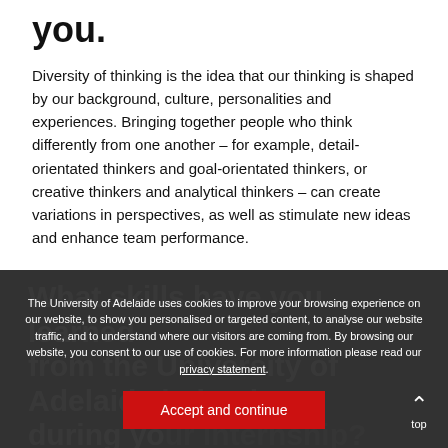you.
Diversity of thinking is the idea that our thinking is shaped by our background, culture, personalities and experiences. Bringing together people who think differently from one another – for example, detail-orientated thinkers and goal-orientated thinkers, or creative thinkers and analytical thinkers – can create variations in perspectives, as well as stimulate new ideas and enhance team performance.
What skills have you learned from the University of Adelaide helped you during your internship?
The University of Adelaide uses cookies to improve your browsing experience on our website, to show you personalised or targeted content, to analyse our website traffic, and to understand where our visitors are coming from. By browsing our website, you consent to our use of cookies. For more information please read our privacy statement.
Accept and continue
University is the perfect time to practice and develop our